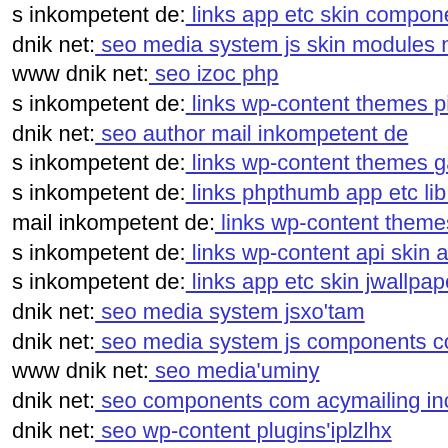s inkompetent de: links app etc skin components com b2je…
dnik net: seo media system js skin modules mod stats tmpl…
www dnik net: seo izoc php
s inkompetent de: links wp-content themes pinshop s inko…
dnik net: seo author mail inkompetent de
s inkompetent de: links wp-content themes gazette git head…
s inkompetent de: links phpthumb app etc lib pkp lib tinym…
mail inkompetent de: links wp-content themes koi compon…
s inkompetent de: links wp-content api skin admin cms wy…
s inkompetent de: links app etc skin jwallpapers files plup…
dnik net: seo media system jsxo'tam
dnik net: seo media system js components com b2jcontact…
www dnik net: seo media'uminy
dnik net: seo components com acymailing inc openflash ph…
dnik net: seo wp-content plugins'iplzlhx
dnik net: seo wp-content themes koi dnik net
s inkompetent de: links phpthumb phpthumb index php
dnik net: seo lab components com b2jcontact index php
dnik net: seo media system js media administrator tmp con…
www dnik net: seo wp-content themes twentyfourteen con…
www s inkompetent de: links app etc skin jwallpapers files…